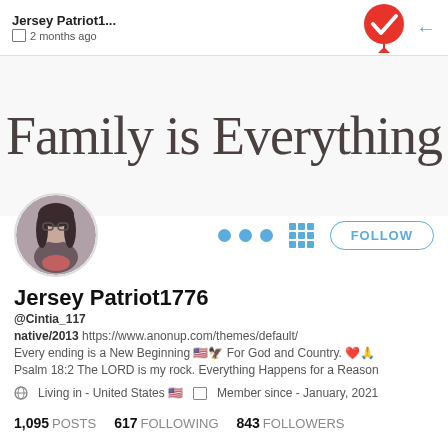Jersey Patriot1... 2 months ago
[Figure (screenshot): Profile banner showing cursive text 'Family is Everything' on light background]
[Figure (photo): Circular profile photo of a person with glasses and dark hair]
Jersey Patriot1776
@Cintia_117
native/2013 https://www.anonup.com/themes/default/
Every ending is a New Beginning 🇺🇸🦅 For God and Country. ❤️🙏 Psalm 18:2 The LORD is my rock. Everything Happens for a Reason
Living in - United States 🇺🇸  Member since - January, 2021
1,095 POSTS   617 FOLLOWING   843 FOLLOWERS